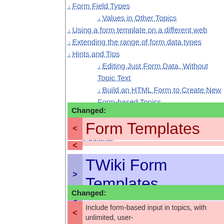↓ Form Field Types
↓ Values in Other Topics
↓ Using a form template on a different web
↓ Extending the range of form data types
↓ Hints and Tips
↓ Editing Just Form Data, Without Topic Text
↓ Build an HTML Form to Create New Form-based Topics
↓ Update Specific Form Fields
↓ Searching for Form Data
↓ Gotcha!
Changed:
< Form Templates
> TWiki Form Templates
Changed:
< Include form-based input in topics, with unlimited, user-